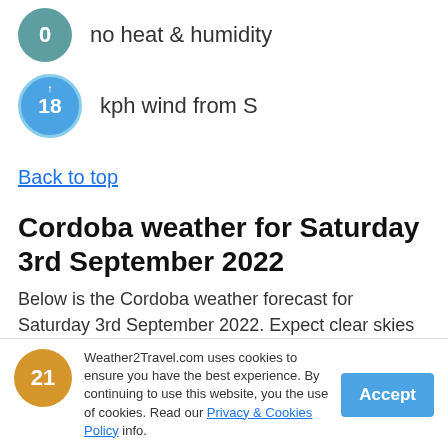[Figure (infographic): Teal circle with '0' indicating no heat & humidity]
no heat & humidity
[Figure (infographic): Blue circle with arrow up and '18' indicating 18 kph wind from S]
kph wind from S
Back to top
Cordoba weather for Saturday 3rd September 2022
Below is the Cordoba weather forecast for Saturday 3rd September 2022. Expect clear skies in Cordoba, Argentina with a maximum temperature of 21°C, maximum UV of 7 (High) and 12 hours of bright sunshine. There are 0 mm of rainfall expected and a gentle breeze of 16 kph from the west.
Weather2Travel.com uses cookies to ensure you have the best experience. By continuing to use this website, you the use of cookies. Read our Privacy & Cookies Policy info.